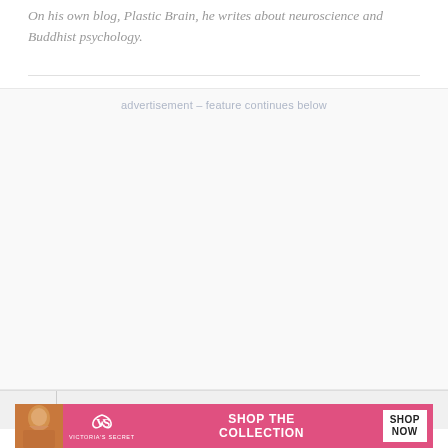On his own blog, Plastic Brain, he writes about neuroscience and Buddhist psychology.
advertisement – feature continues below
[Figure (other): Advertisement placeholder area (blank white space)]
[Figure (other): Victoria's Secret advertisement banner with model photo, VS logo, 'SHOP THE COLLECTION' text, and 'SHOP NOW' button]